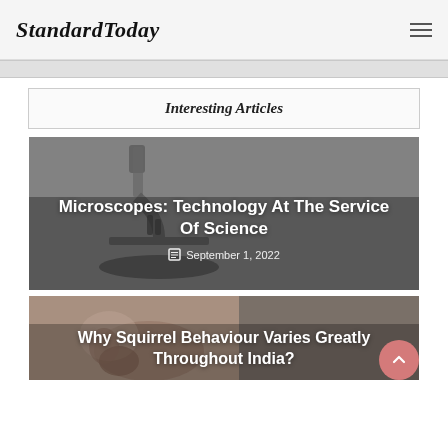StandardToday
Interesting Articles
[Figure (photo): Article card with microscope image background. Title: Microscopes: Technology At The Service Of Science. Date: September 1, 2022]
Microscopes: Technology At The Service Of Science
September 1, 2022
[Figure (photo): Article card with squirrel photo background, split with darker overlay on right.]
Why Squirrel Behaviour Varies Greatly Throughout India?